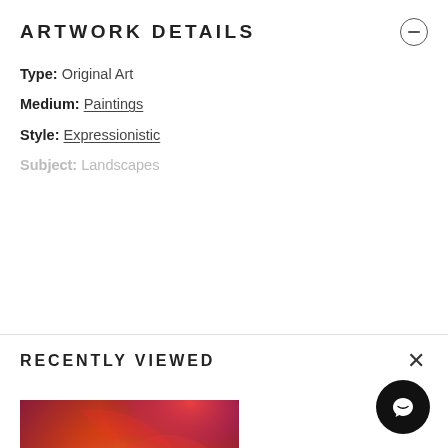ARTWORK DETAILS
Type: Original Art
Medium: Paintings
Style: Expressionistic
Subject: Landscapes
RECENTLY VIEWED
[Figure (photo): An expressionistic painting with swirling orange, red, purple, and cream tones — an abstract landscape.]